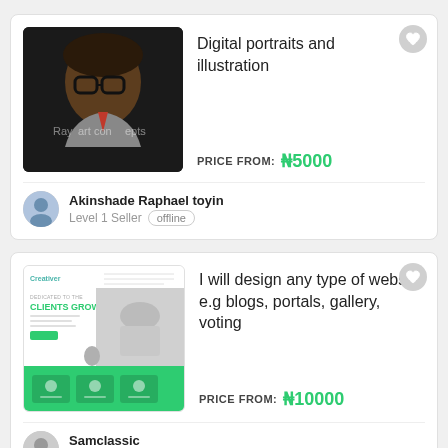[Figure (photo): Portrait photo of a young man wearing glasses and a suit/tie, against dark background, with watermark text overlay]
Digital portraits and illustration
PRICE FROM: ₦5000
[Figure (screenshot): Screenshot of a website design with green accents showing 'CLIENTS GROWTH' text and website layout elements]
Akinshade Raphael toyin
Level 1 Seller  offline
I will design any type of website e.g blogs, portals, gallery, voting
PRICE FROM: ₦10000
Samclassic
Level 1 Seller  offline